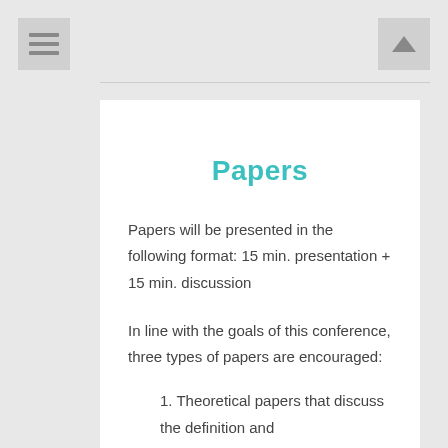Papers
Papers will be presented in the following format: 15 min. presentation + 15 min. discussion
In line with the goals of this conference, three types of papers are encouraged:
1. Theoretical papers that discuss the definition and conceptualization of new perspectives in border securitization. Such